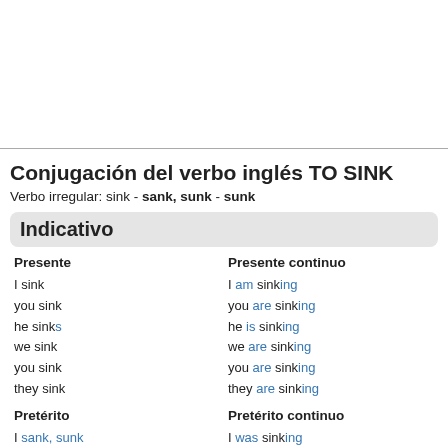Conjugación del verbo inglés TO SINK
Verbo irregular: sink - sank, sunk - sunk
Indicativo
| Presente | Presente continuo |
| --- | --- |
| I sink | I am sinking |
| you sink | you are sinking |
| he sinks | he is sinking |
| we sink | we are sinking |
| you sink | you are sinking |
| they sink | they are sinking |
| Pretérito | Pretérito continuo |
| --- | --- |
| I sank, sunk | I was sinking |